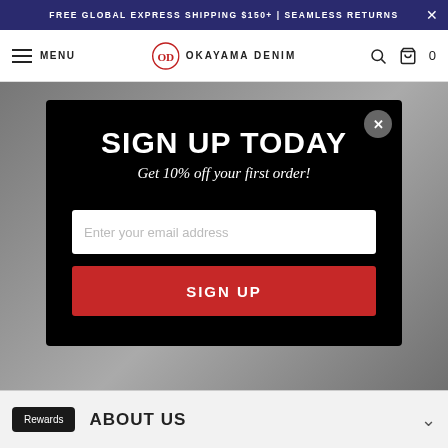FREE GLOBAL EXPRESS SHIPPING $150+ | SEAMLESS RETURNS
MENU  OKAYAMA DENIM  0
Sign up to get the latest on sales, new
SIGN UP TODAY
Get 10% off your first order!
Enter your email address
SIGN UP
[Figure (logo): Okayama Denim logo with OD monogram icon]
ABOUT US
Rewards